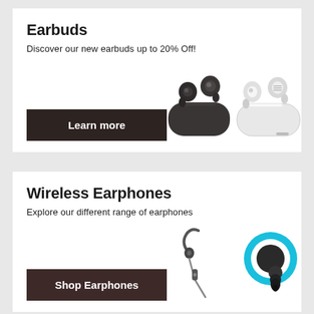Earbuds
Discover our new earbuds up to 20% Off!
[Figure (illustration): Dark and white wireless earbuds with charging cases]
Wireless Earphones
Explore our different range of earphones
[Figure (illustration): Wired sport earphones and wireless earphones with cyan ring logo]